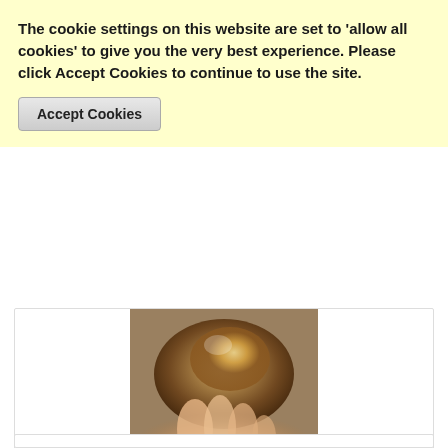The cookie settings on this website are set to 'allow all cookies' to give you the very best experience. Please click Accept Cookies to continue to use the site.
Accept Cookies
[Figure (photo): A hand holding a yellow/amber fluorite crystal specimen against a light background.]
AA grade Yellow Fluorite (115745)
In her masterpiece Crystal Enlightenment Katrina Raphaell writes lucidly about this precious stone. “ Fluorite is a stone that is not indigenous to this earth. It has been transported here from the higher dimensions to...
£25.00
NOT RATED
ADD TO CART